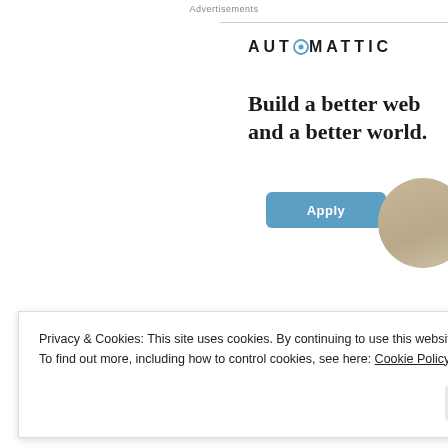Advertisements
[Figure (logo): Automattic company logo with stylized 'O' containing a dot, displayed in uppercase bold letters with wide letter-spacing]
Build a better web and a better world.
[Figure (illustration): Circular cropped photo of a person working, partially visible on right edge]
Apply
Share this:
Privacy & Cookies: This site uses cookies. By continuing to use this website, you agree to their use.
To find out more, including how to control cookies, see here: Cookie Policy
Close and accept